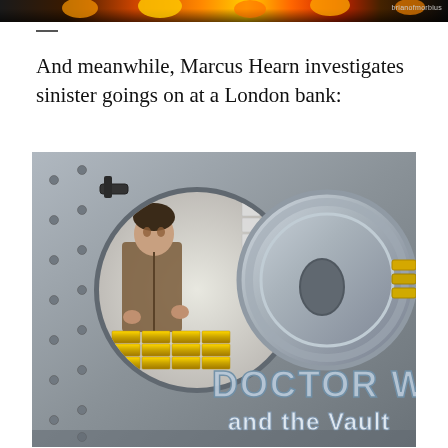[Figure (photo): Top strip image showing flames/fire, partially cropped. Watermark 'brianofmorbius' visible at top right.]
And meanwhile, Marcus Hearn investigates sinister goings on at a London bank:
[Figure (illustration): Book cover image titled 'Doctor Who and the Vault' showing a person inside a bank vault with gold bars stacked behind them. Large circular vault door visible. Blue metallic 'DOCTOR WHO' and 'and the Vault' text overlaid on lower portion of image.]